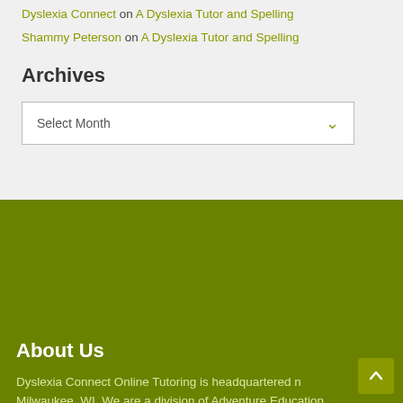Dyslexia Connect on A Dyslexia Tutor and Spelling
Shammy Peterson on A Dyslexia Tutor and Spelling
Archives
Select Month
About Us
Dyslexia Connect Online Tutoring is headquartered n... Milwaukee, WI. We are a division of Adventure Education